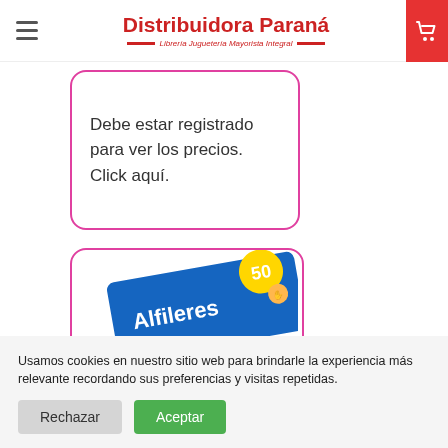Distribuidora Paraná — Librería Juguetería Mayorista Integral
Debe estar registrado para ver los precios. Click aquí.
[Figure (photo): Product image: Alfileres (pins) package, blue card with yellow circular badge showing '50']
Usamos cookies en nuestro sitio web para brindarle la experiencia más relevante recordando sus preferencias y visitas repetidas.